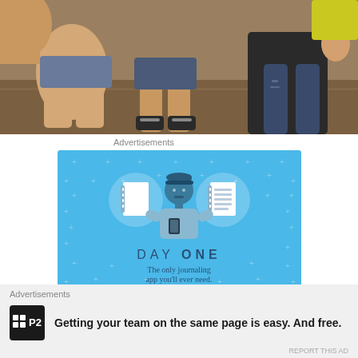[Figure (photo): Photo of people sitting on a couch, showing their legs, feet with sneakers, and partial torsos]
Advertisements
[Figure (illustration): Day One app advertisement on blue background. Shows a cartoon person holding a phone flanked by two circular icons with notebook images. Text reads DAY ONE - The only journaling app you'll ever need. Button says Get the app.]
Advertisements
Getting your team on the same page is easy. And free.